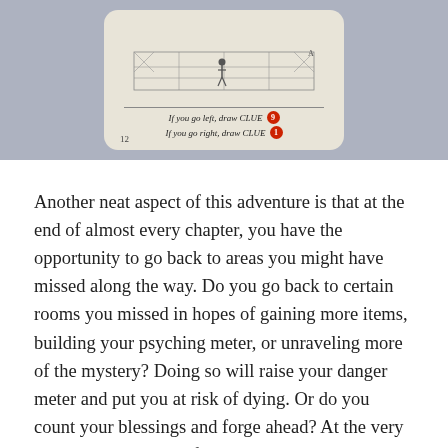[Figure (photo): Photo of a board game card with illustrated dungeon/room scene at top, dividing line, and two options: 'If you go left, draw CLUE 9' and 'If you go right, draw CLUE 1', with number 12 at bottom left. Card is displayed on a blue-grey background.]
Another neat aspect of this adventure is that at the end of almost every chapter, you have the opportunity to go back to areas you might have missed along the way. Do you go back to certain rooms you missed in hopes of gaining more items, building your psyching meter, or unraveling more of the mystery? Doing so will raise your danger meter and put you at risk of dying. Or do you count your blessings and forge ahead? At the very least, it's a great way for completionists to circle back to areas in case they luck out and take the most direct path.
It's worth noting here that the replay value of this game is inherently limited. Completing the campaign can be done